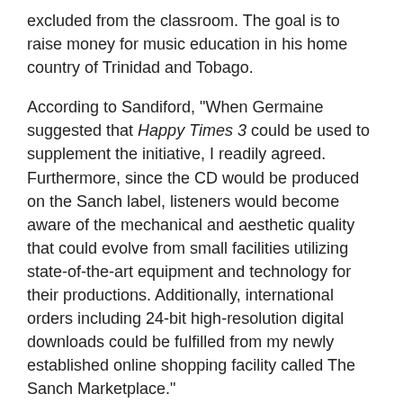excluded from the classroom. The goal is to raise money for music education in his home country of Trinidad and Tobago.
According to Sandiford, "When Germaine suggested that Happy Times 3 could be used to supplement the initiative, I readily agreed. Furthermore, since the CD would be produced on the Sanch label, listeners would become aware of the mechanical and aesthetic quality that could evolve from small facilities utilizing state-of-the-art equipment and technology for their productions. Additionally, international orders including 24-bit high-resolution digital downloads could be fulfilled from my newly established online shopping facility called The Sanch Marketplace."
The repertoire is a "gourmet selection of timeless melodies" – vocals and instrumentals in swing, bolero and honky-tonk modes with old time calypso jam sessions rippling with endless nostalgia. "Tico Tico,"